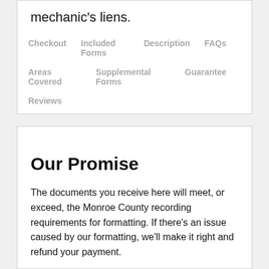mechanic's liens.
Checkout
Included Forms
Description
FAQs
Areas Covered
Supplemental Forms
Guarantee
Reviews
Our Promise
The documents you receive here will meet, or exceed, the Monroe County recording requirements for formatting. If there's an issue caused by our formatting, we'll make it right and refund your payment.
Save Time and Money